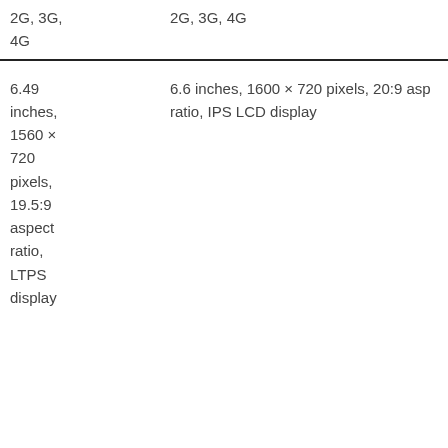| 2G, 3G,
4G | 2G, 3G, 4G |
| 6.49
inches,
1560 ×
720
pixels,
19.5:9
aspect
ratio,
LTPS
display | 6.6 inches, 1600 × 720 pixels, 20:9 aspect ratio, IPS LCD display |